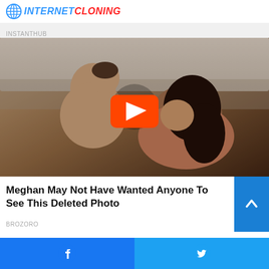INTERNET CLONING
A Man Story: Embarrassed Himself In Front Of The Whole World
INSTANTHUB
[Figure (photo): Video thumbnail showing a couple on a bed with a YouTube-style play button overlay]
Meghan May Not Have Wanted Anyone To See This Deleted Photo
BROZORO
[Figure (other): Blue arrow up button on the right side]
Facebook share button | Twitter share button